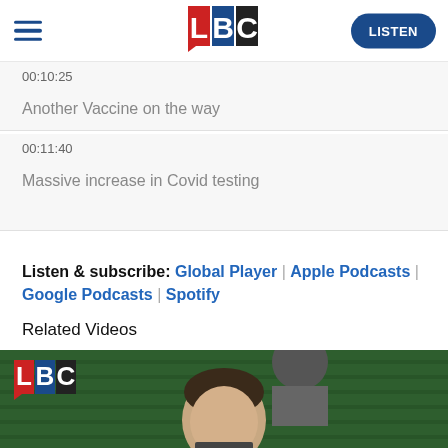LBC | LISTEN
00:10:25
Another Vaccine on the way
00:11:40
Massive increase in Covid testing
Listen & subscribe: Global Player | Apple Podcasts | Google Podcasts | Spotify
Related Videos
[Figure (photo): A man sitting in what appears to be the UK Parliament (House of Commons), with green leather benches visible behind him. The LBC logo is overlaid in the top-left corner of the video thumbnail.]